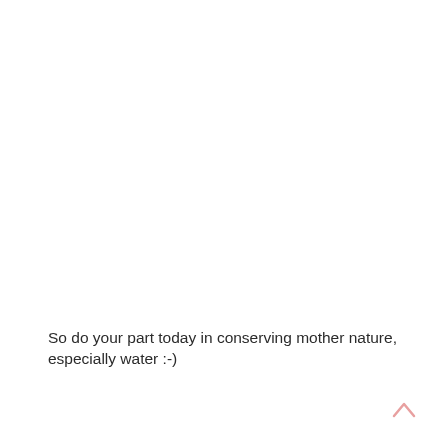So do your part today in conserving mother nature, especially water :-)
[Figure (illustration): A small pink/light-red upward-pointing caret or chevron arrow icon in the bottom-right area of the page.]